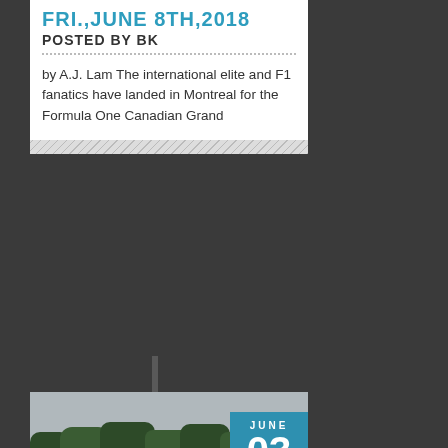FRI., JUNE 8TH, 2018
POSTED BY BK
by A.J. Lam The international elite and F1 fanatics have landed in Montreal for the Formula One Canadian Grand
[Figure (photo): Parking lot with a row of red and black Ferrari sports cars lined up, trees in background, orange traffic cone visible]
ITALIAN NATIONAL DAY: CASTELLO ITALIA AT CASA LOMA – SUN., JUNE